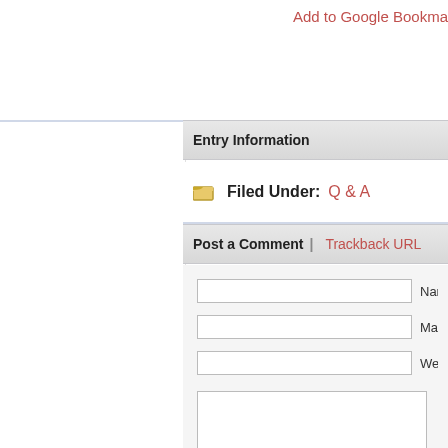Add to Google Bookmarks
Entry Information
Filed Under: Q & A
Post a Comment | Trackback URL
Name (required)
Mail (will not be published) (re...
Website